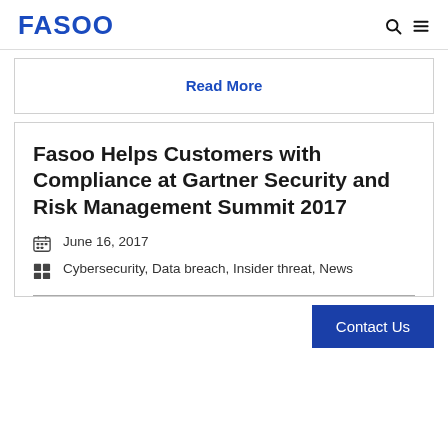FASOO
Read More
Fasoo Helps Customers with Compliance at Gartner Security and Risk Management Summit 2017
June 16, 2017
Cybersecurity, Data breach, Insider threat, News
Contact Us